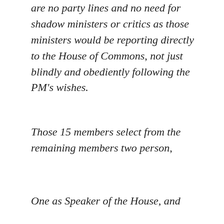are no party lines and no need for shadow ministers or critics as those ministers would be reporting directly to the House of Commons, not just blindly and obediently following the PM's wishes.
Those 15 members select from the remaining members two person,
One as Speaker of the House, and